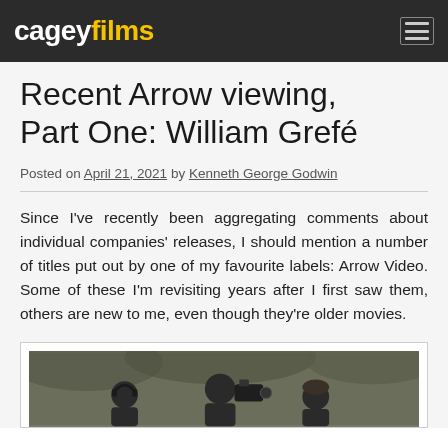cageyfilms
Recent Arrow viewing, Part One: William Grefé
Posted on April 21, 2021 by Kenneth George Godwin
Since I've recently been aggregating comments about individual companies' releases, I should mention a number of titles put out by one of my favourite labels: Arrow Video. Some of these I'm revisiting years after I first saw them, others are new to me, even though they're older movies.
[Figure (photo): Black and white photo of people with a film camera, shot from behind, outdoors with foliage in background]